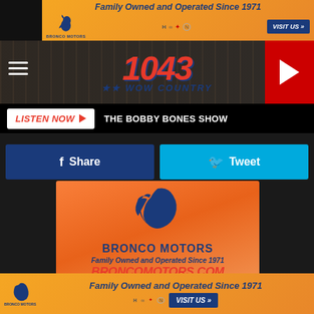[Figure (logo): Bronco Motors banner ad - Family Owned and Operated Since 1971, with horse logo, brand logos (Hyundai, Infiniti, Mitsubishi, Nissan), and VISIT US button on orange gradient background]
[Figure (logo): 104.3 WOW COUNTRY radio station logo on wood-textured dark background with hamburger menu and red play button]
LISTEN NOW ►    THE BOBBY BONES SHOW
[Figure (infographic): Facebook Share button (dark blue) and Twitter Tweet button (cyan blue) side by side]
[Figure (logo): Bronco Motors advertisement with horse logo on orange gradient background, BRONCO MOTORS title, Family Owned and Operated Since 1971, BRONCOMOTORS.COM, QUALITY | VALUE | INTEGRITY | TRUST, car brand logos, and VISIT US button]
[Figure (logo): Bronco Motors bottom banner ad - Family Owned and Operated Since 1971, horse logo, brand logos, VISIT US button on orange gradient background]